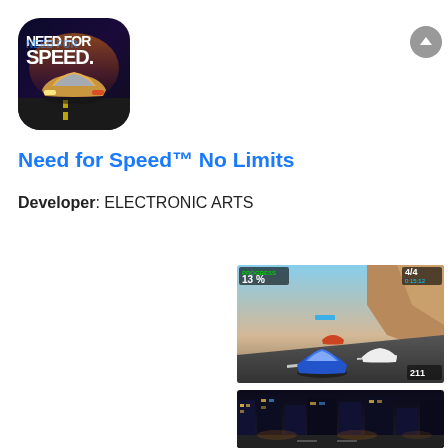[Figure (logo): Need for Speed logo app icon with a sports car on a dark blue/purple background with stylized 'NEED FOR SPEED' text]
Need for Speed™ No Limits
Developer: ELECTRONIC ARTS
[Figure (screenshot): In-game screenshot showing racing scene with blue sports car on a desert highway, HUD showing '13 %' progress and '4/4' position with timer '0:15:12']
[Figure (screenshot): Partial in-game screenshot showing night city racing scene]